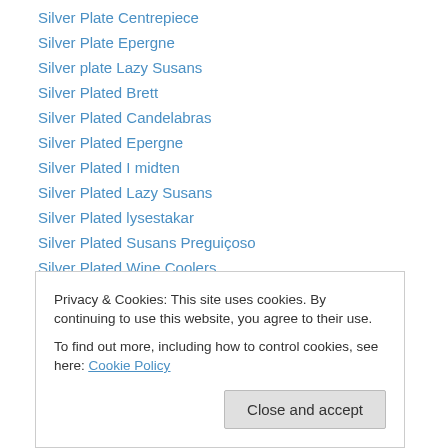Silver Plate Centrepiece
Silver Plate Epergne
Silver plate Lazy Susans
Silver Plated Brett
Silver Plated Candelabras
Silver Plated Epergne
Silver Plated I midten
Silver Plated Lazy Susans
Silver Plated lysestakar
Silver Plated Susans Preguiçoso
Silver Plated Wine Coolers
Silver Plated Wine kjølere
Sitemap
Spanish Pages
Privacy & Cookies: This site uses cookies. By continuing to use this website, you agree to their use.
To find out more, including how to control cookies, see here: Cookie Policy
Breakfront Librerias